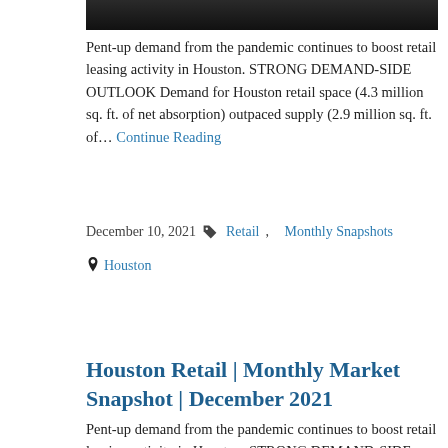[Figure (photo): Dark photo strip at top of page, appears to be a building or urban scene]
Pent-up demand from the pandemic continues to boost retail leasing activity in Houston. STRONG DEMAND-SIDE OUTLOOK Demand for Houston retail space (4.3 million sq. ft. of net absorption) outpaced supply (2.9 million sq. ft. of… Continue Reading
December 10, 2021   Retail, Monthly Snapshots
Houston
Download the PDF
Houston Retail | Monthly Market Snapshot | December 2021
Pent-up demand from the pandemic continues to boost retail leasing activity in Houston. STRONG DEMAND-SIDE OUTLOOK Demand for Houston retail